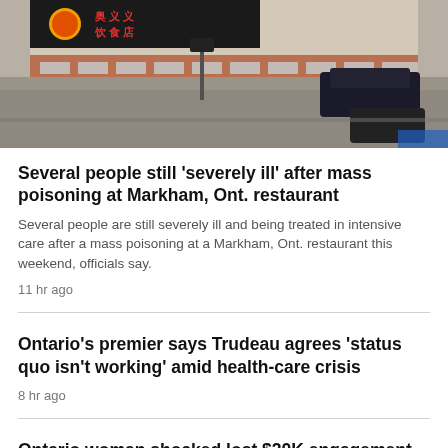[Figure (photo): Aerial view of a building exterior, appears to be a restaurant or commercial building with a parking lot and vehicles visible]
Several people still 'severely ill' after mass poisoning at Markham, Ont. restaurant
Several people are still severely ill and being treated in intensive care after a mass poisoning at a Markham, Ont. restaurant this weekend, officials say.
11 hr ago
Ontario's premier says Trudeau agrees 'status quo isn't working' amid health-care crisis
8 hr ago
Ontario woman shocked lost $20K engagement